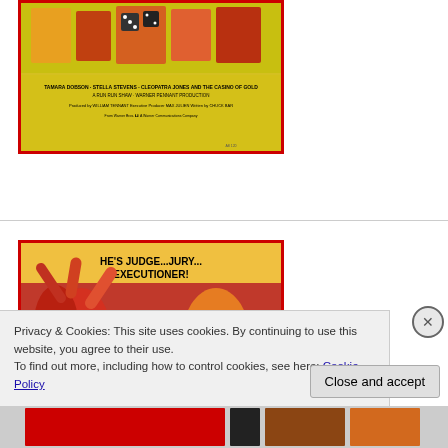[Figure (photo): Top portion of a vintage movie poster with yellow background, red border, featuring text 'TAMARA DOBSON · STELLA STEVENS · CLEOPATRA JONES AND THE CASINO OF GOLD · A RUN RUN SHAW · WARNER PENNANT PRODUCTION']
[Figure (photo): Vintage Western/action movie poster with red border. Text reads 'HE'S JUDGE...JURY... EXECUTIONER!' and 'THE MAN WITH THE GUNSIGHT EYES IS BACK!' showing action figures in red tones with a man in a black hat in foreground.]
Privacy & Cookies: This site uses cookies. By continuing to use this website, you agree to their use.
To find out more, including how to control cookies, see here: Cookie Policy
Close and accept